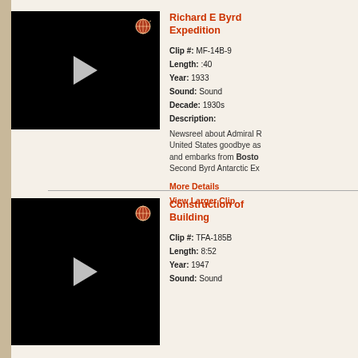[Figure (screenshot): Black video thumbnail with white play button triangle and globe icon in top right]
Richard E Byrd Expedition
Clip #: MF-14B-9
Length: :40
Year: 1933
Sound: Sound
Decade: 1930s
Description:
Newsreel about Admiral R... United States goodbye as... and embarks from Boston... Second Byrd Antarctic Ex...
More Details
View Larger Clip
[Figure (screenshot): Black video thumbnail with white play button triangle and globe icon in top right]
Construction of Building
Clip #: TFA-185B
Length: 8:52
Year: 1947